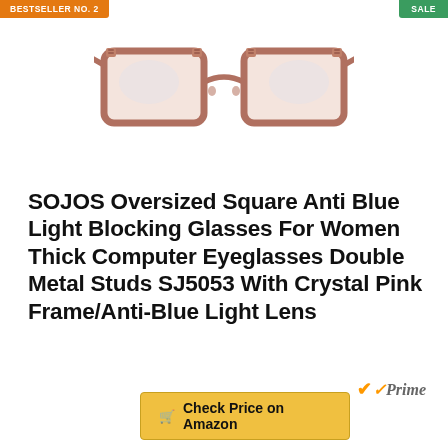BESTSELLER NO. 2
SALE
[Figure (photo): Oversized square crystal pink eyeglasses with clear lenses and double metal stud accents on the frame corners, viewed from the front.]
SOJOS Oversized Square Anti Blue Light Blocking Glasses For Women Thick Computer Eyeglasses Double Metal Studs SJ5053 With Crystal Pink Frame/Anti-Blue Light Lens
Prime
Check Price on Amazon